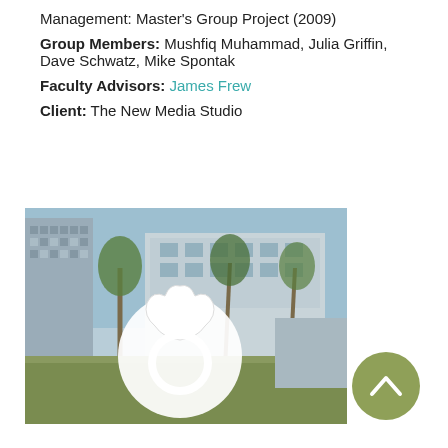Management: Master's Group Project (2009)
Group Members: Mushfiq Muhammad, Julia Griffin, Dave Schwatz, Mike Spontak
Faculty Advisors: James Frew
Client: The New Media Studio
[Figure (photo): Photograph of a campus building with palm trees and grass in the foreground, overlaid with a white circular logo containing an oak leaf shape.]
[Figure (other): Olive green circle with a white upward-pointing chevron arrow, used as a navigation button.]